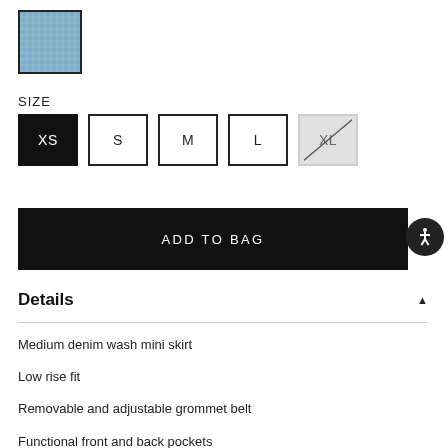[Figure (photo): Blue denim fabric color swatch with a border, selected state]
SIZE
[Figure (infographic): Size selector buttons: XS (selected/black), S, M, L, XL (unavailable/crossed out)]
[Figure (infographic): ADD TO BAG button, black rectangle with white text]
Details
Medium denim wash mini skirt
Low rise fit
Removable and adjustable grommet belt
Functional front and back pockets